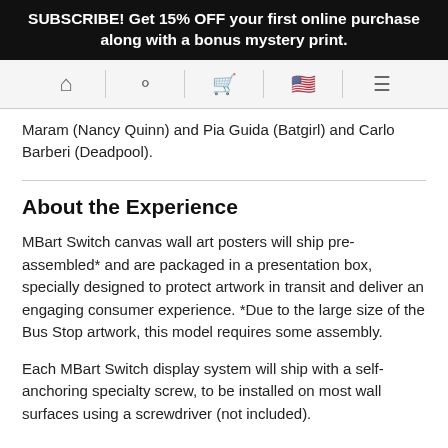SUBSCRIBE! Get 15% OFF your first online purchase along with a bonus mystery print.
[Figure (screenshot): Navigation bar with icons: home, user/account, shopping cart, US flag, and hamburger menu, separated by vertical dividers on a light gray background.]
...Maram (Nancy Quinn) and Pia Guida (Batgirl) and Carlo Barberi (Deadpool).
About the Experience
MBart Switch canvas wall art posters will ship pre-assembled* and are packaged in a presentation box, specially designed to protect artwork in transit and deliver an engaging consumer experience. *Due to the large size of the Bus Stop artwork, this model requires some assembly.
Each MBart Switch display system will ship with a self-anchoring specialty screw, to be installed on most wall surfaces using a screwdriver (not included).